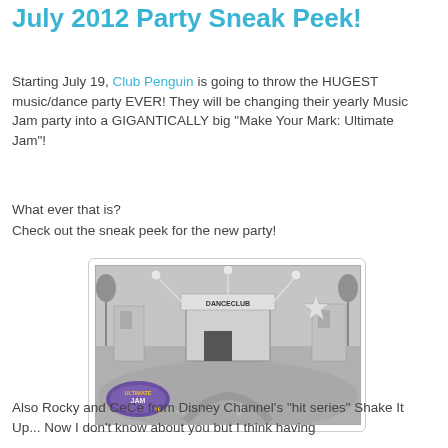July 2012 Party Sneak Peek!
Starting July 19, Club Penguin is going to throw the HUGEST music/dance party EVER! They will be changing their yearly Music Jam party into a GIGANTICALLY big "Make Your Mark: Ultimate Jam"!
What ever that is?
Check out the sneak peek for the new party!
[Figure (screenshot): Grayscale screenshot of a Club Penguin dance party scene showing the Dance Club building, musical notes on the ground, and the Ultimate Jam logo in the lower left corner.]
Also Rocky and CeCe from Disney Channel's "hit series" Shake It Up... Now I don't know about you but I think having